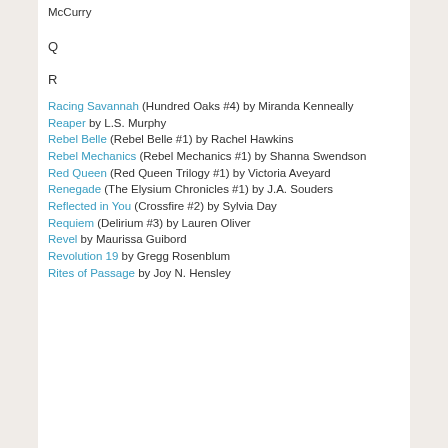McCurry
Q
R
Racing Savannah (Hundred Oaks #4) by Miranda Kenneally
Reaper by L.S. Murphy
Rebel Belle (Rebel Belle #1) by Rachel Hawkins
Rebel Mechanics (Rebel Mechanics #1) by Shanna Swendson
Red Queen (Red Queen Trilogy #1) by Victoria Aveyard
Renegade (The Elysium Chronicles #1) by J.A. Souders
Reflected in You (Crossfire #2) by Sylvia Day
Requiem (Delirium #3) by Lauren Oliver
Revel by Maurissa Guibord
Revolution 19 by Gregg Rosenblum
Rites of Passage by Joy N. Hensley